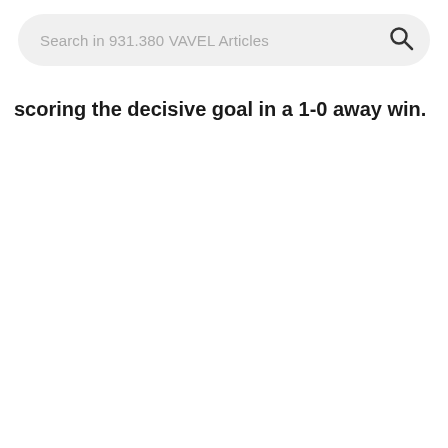Search in 931.380 VAVEL Articles
scoring the decisive goal in a 1-0 away win.